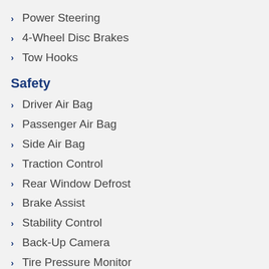Power Steering
4-Wheel Disc Brakes
Tow Hooks
Safety
Driver Air Bag
Passenger Air Bag
Side Air Bag
Traction Control
Rear Window Defrost
Brake Assist
Stability Control
Back-Up Camera
Tire Pressure Monitor
Child Safety Locks
Rear Head Air Bag